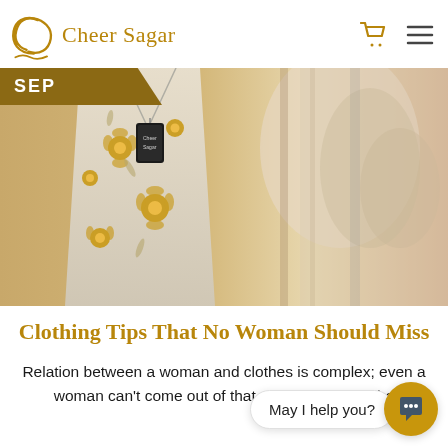[Figure (logo): Cheer Sagar brand logo with decorative swirl icon and 'Cheer Sagar' text in golden color, with cart and hamburger menu icons on the right]
[Figure (photo): Close-up photograph of a hanging garment with golden floral embroidery on white/grey fabric, with Cheer Sagar label visible. A 'SEP' badge is overlaid in the top-left corner.]
Clothing Tips That No Woman Should Miss
Relation between a woman and clothes is complex; even a woman can't come out of that complexity. Whethe